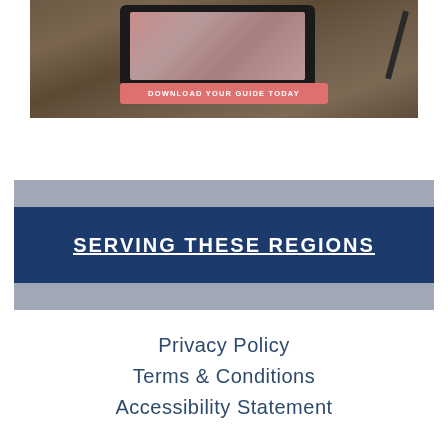[Figure (photo): Photo of a tablet device on a wooden surface with a stylus/pencil beside it, showing a floral illustration on screen, with a coral/salmon colored button labeled 'DOWNLOAD YOUR GUIDE TODAY']
SERVING THESE REGIONS
Privacy Policy
Terms & Conditions
Accessibility Statement